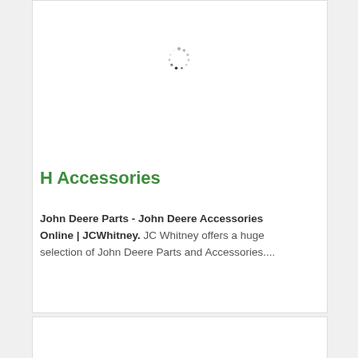[Figure (other): Loading spinner icon centered near top of card]
H Accessories
John Deere Parts - John Deere Accessories Online | JCWhitney. JC Whitney offers a huge selection of John Deere Parts and Accessories....